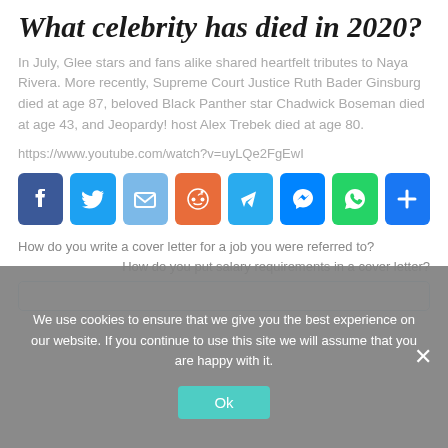What celebrity has died in 2020?
In July, Glee stars and fans alike shared heartfelt tributes to Naya Rivera. More recently, Supreme Court Justice Ruth Bader Ginsburg died at age 87, beloved Black Panther star Chadwick Boseman died at age 43, and Jeopardy! host Alex Trebek died at age 80.
https://www.youtube.com/watch?v=uyLQe2FgEwI
[Figure (other): Social media share buttons: Facebook, Twitter, Email, Reddit, Telegram, Messenger, WhatsApp, Share]
How do you write a cover letter for a job you were referred to?
How do you put salary requirements in a cover letter?
We use cookies to ensure that we give you the best experience on our website. If you continue to use this site we will assume that you are happy with it.